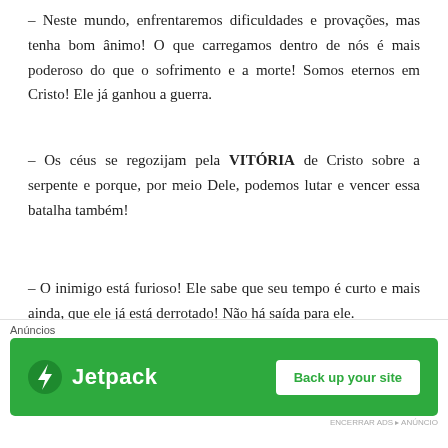– Neste mundo, enfrentaremos dificuldades e provações, mas tenha bom ânimo! O que carregamos dentro de nós é mais poderoso do que o sofrimento e a morte! Somos eternos em Cristo! Ele já ganhou a guerra.
– Os céus se regozijam pela VITÓRIA de Cristo sobre a serpente e porque, por meio Dele, podemos lutar e vencer essa batalha também!
– O inimigo está furioso! Ele sabe que seu tempo é curto e mais ainda, que ele já está derrotado! Não há saída para ele.
Acho que este capítulo é muito importante a essa altura da história, porque estamos vivendo tempos sem precedentes! Uma cultura e uma mentalidade que despreza Deus e Sua Pala...
[Figure (infographic): Jetpack advertisement banner with green background, Jetpack logo on left, 'Back up your site' white button on right, 'Anúncios' label above]